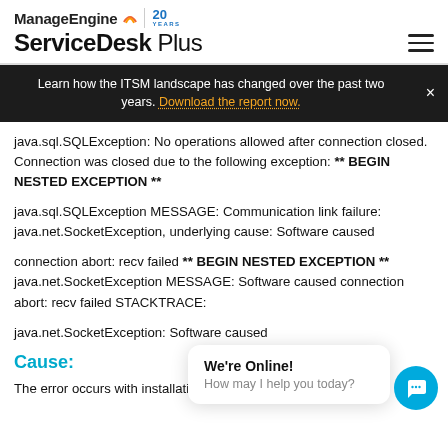ManageEngine ServiceDesk Plus
Learn how the ITSM landscape has changed over the past two years. Download the report now.
java.sql.SQLException: No operations allowed after connection closed. Connection was closed due to the following exception: ** BEGIN NESTED EXCEPTION **
java.sql.SQLException MESSAGE: Communication link failure: java.net.SocketException, underlying cause: Software caused
connection abort: recv failed ** BEGIN NESTED EXCEPTION ** java.net.SocketException MESSAGE: Software caused connection abort: recv failed STACKTRACE:
java.net.SocketException: Software caused
Cause:
The error occurs with installations configured using MSSQL